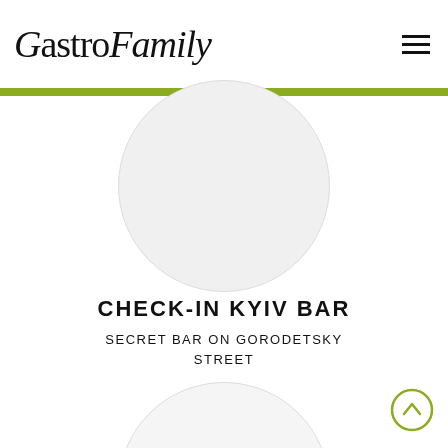GastroFamily
[Figure (illustration): Circular placeholder image at top center, light gray circle partially behind green bar]
CHECK-IN KYIV BAR
SECRET BAR ON GORODETSKY STREET
[Figure (illustration): Circular placeholder image at bottom center, light gray circle partially visible]